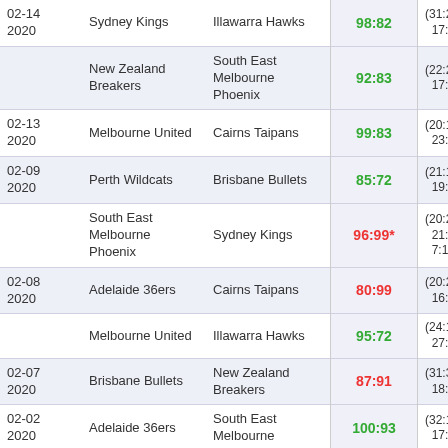| Date | Home | Away | Score | Quarters |
| --- | --- | --- | --- | --- |
| 02-14 2020 | Sydney Kings | Illawarra Hawks | 98:82 | (31:26, 26:17, 17:14, 24:25) |
|  | New Zealand Breakers | South East Melbourne Phoenix | 92:83 | (22:24, 24:15, 17:24, 29:20) |
| 02-13 2020 | Melbourne United | Cairns Taipans | 99:83 | (20:18, 25:24, 23:25, 31:16) |
| 02-09 2020 | Perth Wildcats | Brisbane Bullets | 85:72 | (21:19, 20:20, 19:16, 25:17) |
|  | South East Melbourne Phoenix | Sydney Kings | 96:99* | (20:28, 21:15, 21:19, 27:27; 7:10) |
| 02-08 2020 | Adelaide 36ers | Cairns Taipans | 80:99 | (20:27, 25:30, 16:17, 19:25) |
|  | Melbourne United | Illawarra Hawks | 95:72 | (24:18, 22:16, 27:23, 22:15) |
| 02-07 2020 | Brisbane Bullets | New Zealand Breakers | 87:91 | (31:30, 21:23, 18:19, 17:19) |
| 02-02 2020 | Adelaide 36ers | South East Melbourne | 100:93 | (32:19, 22:27, 17:23, 29:24) |